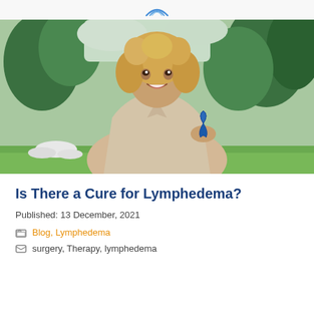[Figure (photo): Smiling woman with curly blonde hair holding a blue awareness ribbon, sitting outdoors in a garden with green trees and grass in the background, wearing a beige top.]
Is There a Cure for Lymphedema?
Published: 13 December, 2021
Blog, Lymphedema
surgery, Therapy, lymphedema